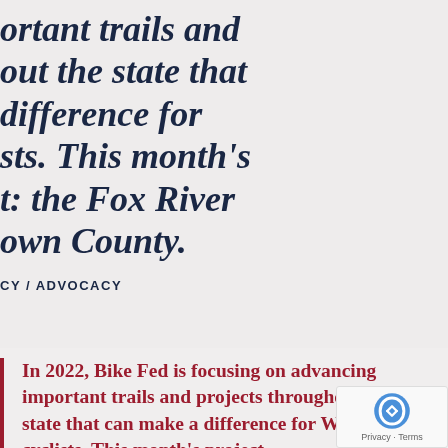ortant trails and out the state that difference for sts. This month's t: the Fox River own County.
CY / ADVOCACY
In 2022, Bike Fed is focusing on advancing important trails and projects throughout the state that can make a difference for Wisconsin cyclists. This month's project